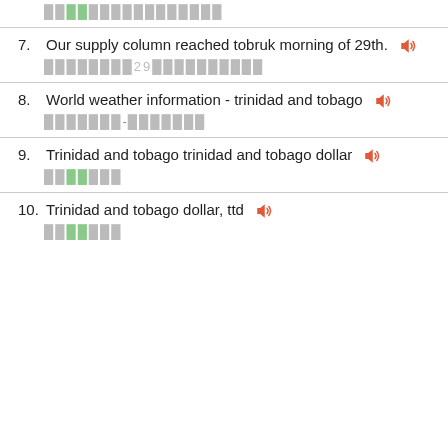[CJK characters - translation block top]
7. Our supply column reached tobruk morning of 29th.
[CJK characters - translation for item 7]
8. World weather information - trinidad and tobago
[CJK characters - translation for item 8]
9. Trinidad and tobago trinidad and tobago dollar
[CJK characters - translation for item 9]
10. Trinidad and tobago dollar, ttd
[CJK characters - translation for item 10]